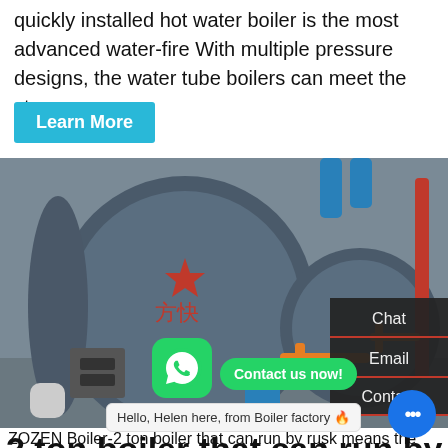quickly installed hot water boiler is the most advanced water-fire With multiple pressure designs, the water tube boilers can meet the steam
[Figure (photo): Industrial hot water boilers in a factory setting, two large cylindrical boilers with Chinese characters, yellow and red pipes, blue drum]
Chat
Email
Contact us now!
Contact
2 ton boiler that can run by rusk - ZOZEN
Hello, Helen here, from Boiler factory 🔥
ZOZEN Boiler-2 ton boiler that can run by rusk means the